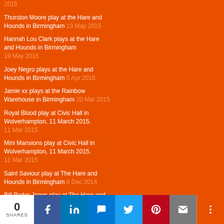2015
Thurston Moore play at the Hare and Hounds in Birmingham 19 May 2015
Hannah Lou Clark plays at the Hare and Hounds in Birmingham 19 May 2015
Joey Negro plays at the Hare and Hounds in Birmingham 5 Apr 2015
Jamie xx plays at the Rainbow Warehouse in Birmingham 20 Mar 2015
Royal Blood play at Civic Hall in Wolverhampton, 11 March 2015. 11 Mar 2015
Mini Mansions play at Civic Hall in Wolverhampton, 11 March 2015. 11 Mar 2015
Saint Saviour play at The Hare and Hounds in Birmingham 8 Dec 2014
Bill Ryder-Jones play at The Hare and Hounds in Birmingham 8 Dec 2014
Kate Tempest (Kae Tempest) plays at the Hare and Hounds in Birmingham 16 Nov 2014
Loyle Carner and Rebel Clef play
0 SHARES | Facebook | LinkedIn | Messenger | Twitter | Pinterest | Email | More